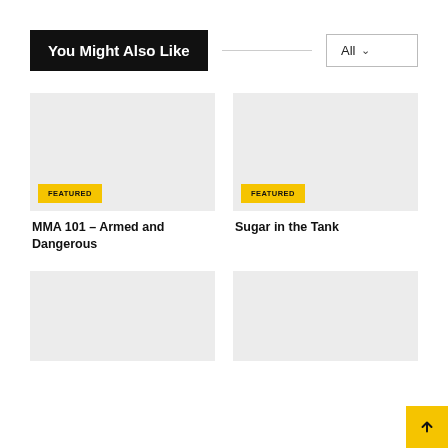You Might Also Like
All
[Figure (photo): Gray placeholder image with FEATURED badge — MMA 101 – Armed and Dangerous]
MMA 101 – Armed and Dangerous
[Figure (photo): Gray placeholder image with FEATURED badge — Sugar in the Tank]
Sugar in the Tank
[Figure (photo): Gray placeholder image — lower left card (partially visible)]
[Figure (photo): Gray placeholder image — lower right card (partially visible)]